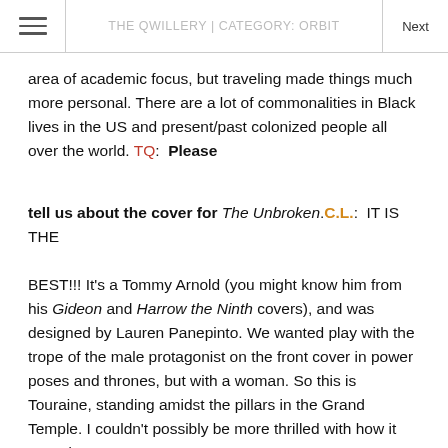THE QWILLERY | CATEGORY: ORBIT
area of academic focus, but traveling made things much more personal. There are a lot of commonalities in Black lives in the US and present/past colonized people all over the world. TQ:  Please tell us about the cover for The Unbroken.C.L.:  IT IS THE BEST!!! It's a Tommy Arnold (you might know him from his Gideon and Harrow the Ninth covers), and was designed by Lauren Panepinto. We wanted play with the trope of the male protagonist on the front cover in power poses and thrones, but with a woman. So this is Touraine, standing amidst the pillars in the Grand Temple. I couldn't possibly be more thrilled with how it turned out.